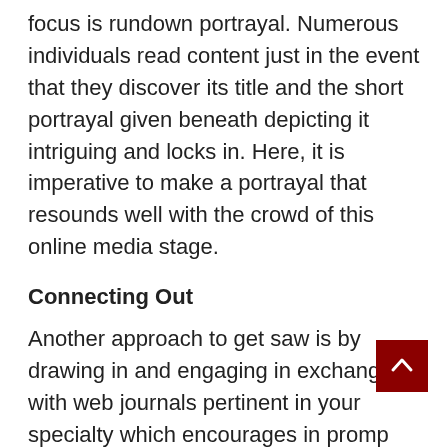focus is rundown portrayal. Numerous individuals read content just in the event that they discover its title and the short portrayal given beneath depicting it intriguing and locks in. Here, it is imperative to make a portrayal that resounds well with the crowd of this online media stage.
Connecting Out
Another approach to get saw is by drawing in and engaging in exchange with web journals pertinent in your specialty which encourages in promp joins back. Bloggers consistently focus on w connects them and wont to convection...